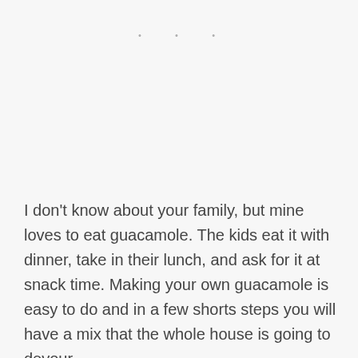• • •
I don't know about your family, but mine loves to eat guacamole. The kids eat it with dinner, take in their lunch, and ask for it at snack time. Making your own guacamole is easy to do and in a few shorts steps you will have a mix that the whole house is going to devour.